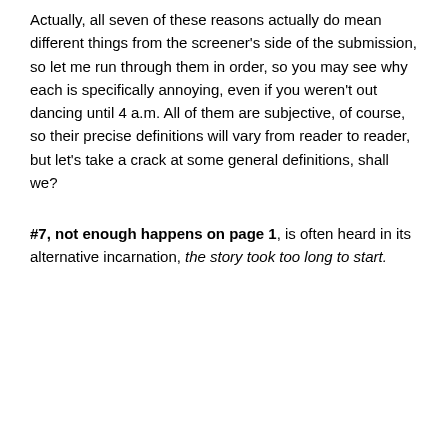Actually, all seven of these reasons actually do mean different things from the screener's side of the submission, so let me run through them in order, so you may see why each is specifically annoying, even if you weren't out dancing until 4 a.m. All of them are subjective, of course, so their precise definitions will vary from reader to reader, but let's take a crack at some general definitions, shall we?
#7, not enough happens on page 1, is often heard in its alternative incarnation, the story took too long to start.